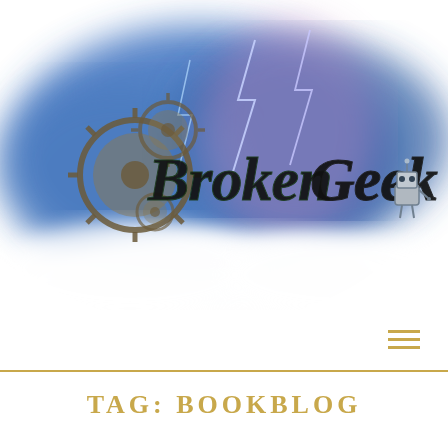[Figure (logo): Broken Geek blog logo — stylized cursive text 'Broken Geek' with steampunk gears on the left and a small robot character on the right, set against a blue and purple cloud/lightning background]
[Figure (other): Hamburger menu icon — three horizontal gold/yellow lines stacked vertically]
TAG: BOOKBLOG